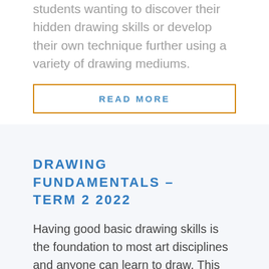suitable for beginners to advanced students wanting to discover their hidden drawing skills or develop their own technique further using a variety of drawing mediums.
READ MORE
DRAWING FUNDAMENTALS – TERM 2 2022
Having good basic drawing skills is the foundation to most art disciplines and anyone can learn to draw. This class is